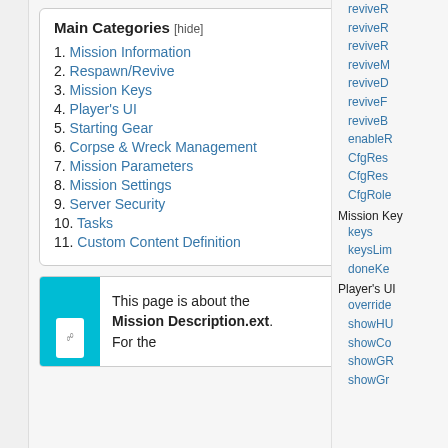Main Categories [hide]
1. Mission Information
2. Respawn/Revive
3. Mission Keys
4. Player's UI
5. Starting Gear
6. Corpse & Wreck Management
7. Mission Parameters
8. Mission Settings
9. Server Security
10. Tasks
11. Custom Content Definition
This page is about the Mission Description.ext. For the
reviveR
reviveR
reviveR
reviveM
reviveD
reviveF
reviveB
enableR
CfgRes
CfgRes
CfgRole
Mission Key
keys
keysLim
doneKe
Player's UI
override
showHU
showCo
showGR
showGr